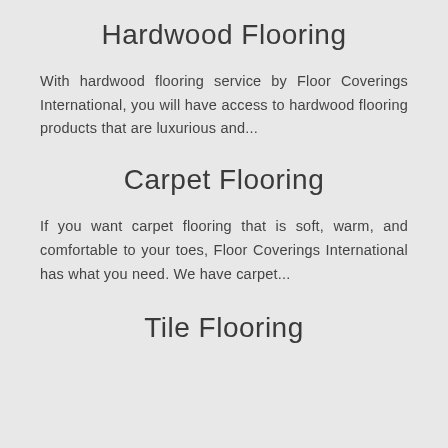Hardwood Flooring
With hardwood flooring service by Floor Coverings International, you will have access to hardwood flooring products that are luxurious and...
Carpet Flooring
If you want carpet flooring that is soft, warm, and comfortable to your toes, Floor Coverings International has what you need. We have carpet...
Tile Flooring